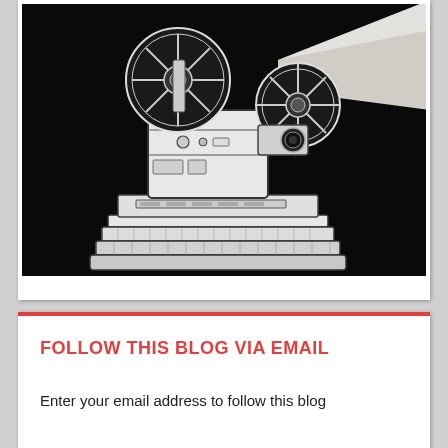[Figure (illustration): Black and white ink drawing of a vintage film projector sitting on top of a stack of books, with a beam of light projecting to the upper right, on a black background.]
FOLLOW THIS BLOG VIA EMAIL
Enter your email address to follow this blog